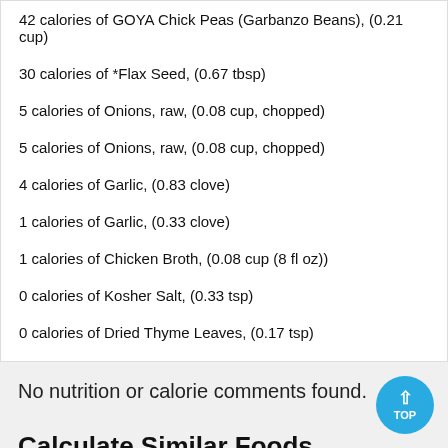42 calories of GOYA Chick Peas (Garbanzo Beans), (0.21 cup)
30 calories of *Flax Seed, (0.67 tbsp)
5 calories of Onions, raw, (0.08 cup, chopped)
5 calories of Onions, raw, (0.08 cup, chopped)
4 calories of Garlic, (0.83 clove)
1 calories of Garlic, (0.33 clove)
1 calories of Chicken Broth, (0.08 cup (8 fl oz))
0 calories of Kosher Salt, (0.33 tsp)
0 calories of Dried Thyme Leaves, (0.17 tsp)
No nutrition or calorie comments found.
Calculate Similar Foods